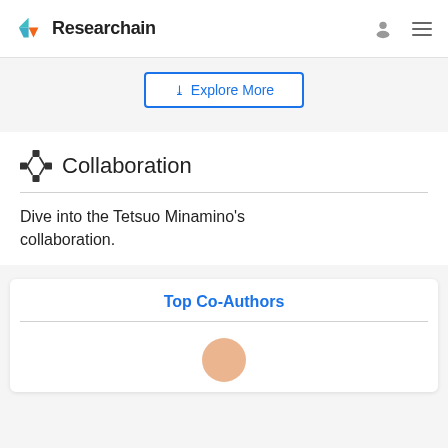Researchain
❯❯ Explore More
Collaboration
Dive into the Tetsuo Minamino's collaboration.
Top Co-Authors